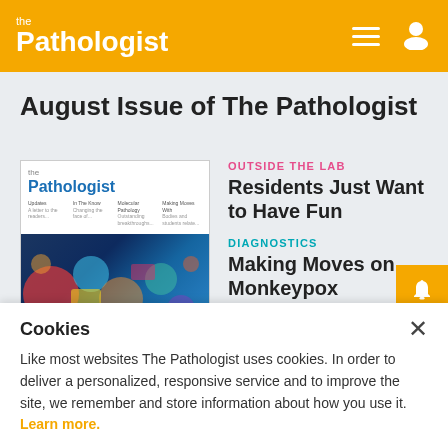the Pathologist
August Issue of The Pathologist
[Figure (illustration): Magazine cover of The Pathologist showing the publication logo and a colorful digital/technology themed illustration]
OUTSIDE THE LAB
Residents Just Want to Have Fun
DIAGNOSTICS
Making Moves on Monkeypox
Cookies
Like most websites The Pathologist uses cookies. In order to deliver a personalized, responsive service and to improve the site, we remember and store information about how you use it. Learn more.